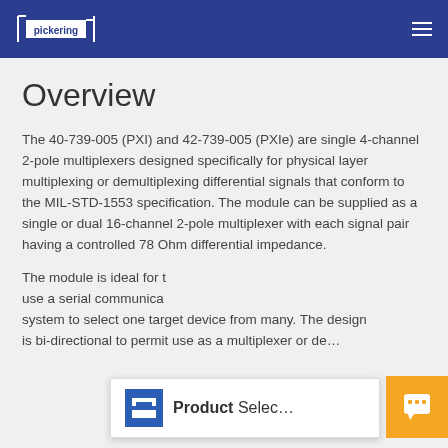Pickering
Overview
The 40-739-005 (PXI) and 42-739-005 (PXIe) are single 4-channel 2-pole multiplexers designed specifically for physical layer multiplexing or demultiplexing differential signals that conform to the MIL-STD-1553 specification. The module can be supplied as a single or dual 16-channel 2-pole multiplexer with each signal pair having a controlled 78 Ohm differential impedance.
The module is ideal for t… use a serial communica… system to select one target device from many. The design is bi-directional to permit use as a multiplexer or de…
[Figure (logo): Product Selector logo with blue icon]
[Figure (other): Orange chat button with speech bubble icon]